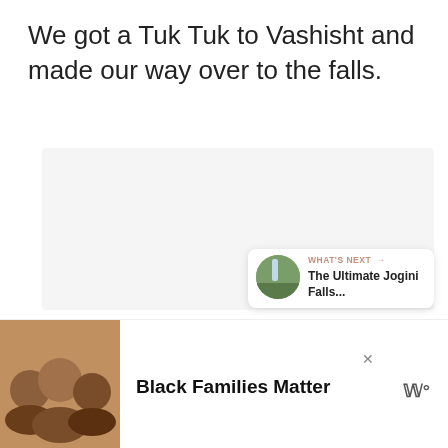We got a Tuk Tuk to Vashisht and made our way over to the falls.
[Figure (photo): Large image area showing a photo (content not visible/loading), with social share icons (Facebook, Twitter, Pinterest, LinkedIn) on the left side and three small gray squares in the center]
[Figure (infographic): What's Next widget showing a thumbnail of Jogini Falls and text 'WHAT'S NEXT → The Ultimate Jogini Falls...']
[Figure (infographic): Advertisement bar at bottom with photo of Black family smiling and text 'Black Families Matter' with a logo]